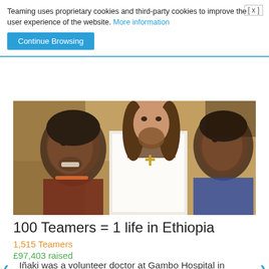Teaming uses proprietary cookies and third-party cookies to improve the user experience of the website. More information
Continue Browsing
[Figure (photo): A man with long hair and beard wearing a white shirt kneels between two African children near a mud wall in Ethiopia, smiling and interacting with them.]
100 Teamers = 1 life in Ethiopia
1,515 Teamers
£97,403 raised
Iñaki was a volunteer doctor at Gambo Hospital in southern Ethiopia. The situation of the centre and the region had such an impact on him that he decided to return as director and help to transform it. Thanks to one of the projects they have created, severely malnourished